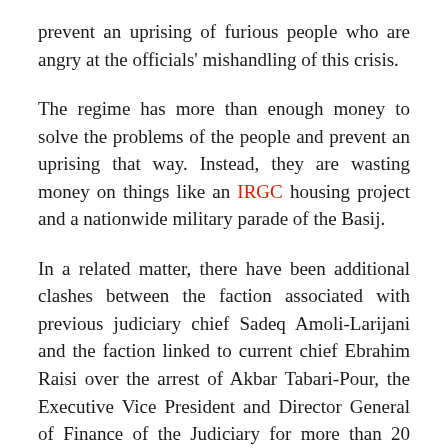prevent an uprising of furious people who are angry at the officials' mishandling of this crisis.
The regime has more than enough money to solve the problems of the people and prevent an uprising that way. Instead, they are wasting money on things like an IRGC housing project and a nationwide military parade of the Basij.
In a related matter, there have been additional clashes between the faction associated with previous judiciary chief Sadeq Amoli-Larijani and the faction linked to current chief Ebrahim Raisi over the arrest of Akbar Tabari-Pour, the Executive Vice President and Director General of Finance of the Judiciary for more than 20 years, who was fired